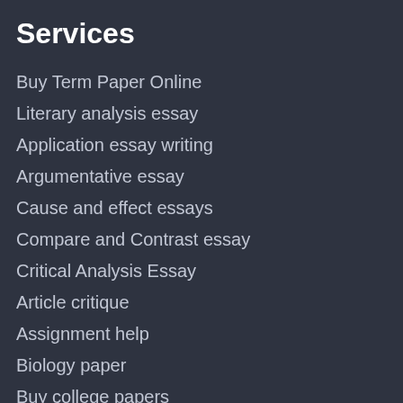Services
Buy Term Paper Online
Literary analysis essay
Application essay writing
Argumentative essay
Cause and effect essays
Compare and Contrast essay
Critical Analysis Essay
Article critique
Assignment help
Biology paper
Buy college papers
Buy Dissertations
Buy Essays online
Buy projects
College Essays